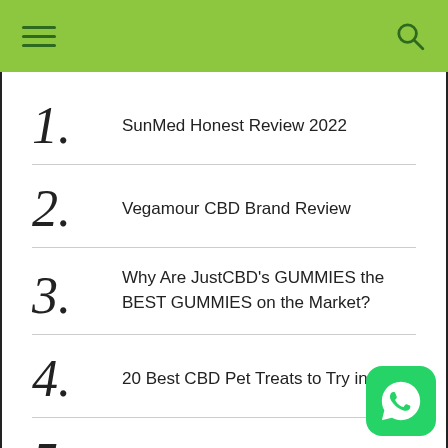SunMed Honest Review 2022
Vegamour CBD Brand Review
Why Are JustCBD’s GUMMIES the BEST GUMMIES on the Market?
20 Best CBD Pet Treats to Try in 2021
30 Best CBD Gummies to Try in 2021